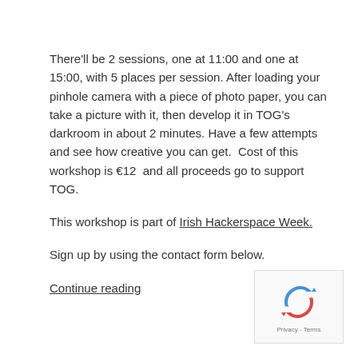There'll be 2 sessions, one at 11:00 and one at 15:00, with 5 places per session. After loading your pinhole camera with a piece of photo paper, you can take a picture with it, then develop it in TOG's darkroom in about 2 minutes. Have a few attempts and see how creative you can get.  Cost of this workshop is €12  and all proceeds go to support TOG.
This workshop is part of Irish Hackerspace Week.
Sign up by using the contact form below.
Continue reading
[Figure (other): reCAPTCHA widget with circular arrows icon and Privacy/Terms links]